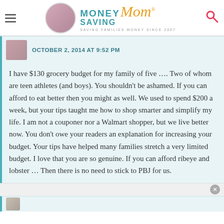Money Saving Mom® — SAVING FAMILIES MONEY SINCE 2007
OCTOBER 2, 2014 AT 9:52 PM
I have $130 grocery budget for my family of five …. Two of whom are teen athletes (and boys). You shouldn't be ashamed. If you can afford to eat better then you might as well. We used to spend $200 a week, but your tips taught me how to shop smarter and simplify my life. I am not a couponer nor a Walmart shopper, but we live better now. You don't owe your readers an explanation for increasing your budget. Your tips have helped many families stretch a very limited budget. I love that you are so genuine. If you can afford ribeye and lobster … Then there is no need to stick to PBJ for us.